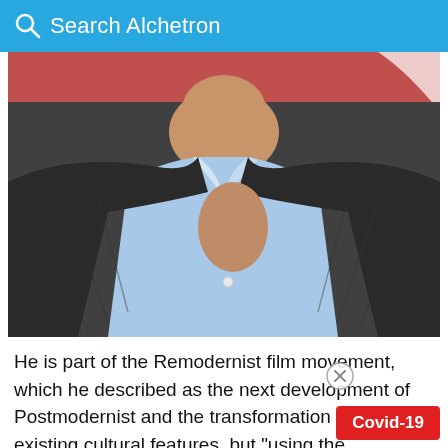Search Alchetron
[Figure (photo): Close-up photo of a man's torso wearing a light blue shirt and dark grey vest/cardigan, with a reddish background visible at the top.]
He is part of the Remodernist film movement, which he described as the next development of Postmodernist and the transformation of existing cultural features, but "using the technology sensibility of contemporary rather than nostalgia"